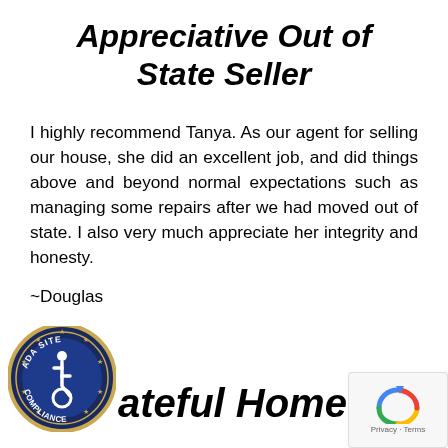Appreciative Out of State Seller
I highly recommend Tanya. As our agent for selling our house, she did an excellent job, and did things above and beyond normal expectations such as managing some repairs after we had moved out of state. I also very much appreciate her integrity and honesty.
~Douglas
[Figure (logo): ADA Site Compliance accessibility logo — circular dark navy badge with gold border, wheelchair symbol in center, text reading ADA SITE COMPLIANCE around the edge with stars]
ateful Home Buyer
[Figure (logo): Google reCAPTCHA badge showing the reCAPTCHA logo with Privacy and Terms links]